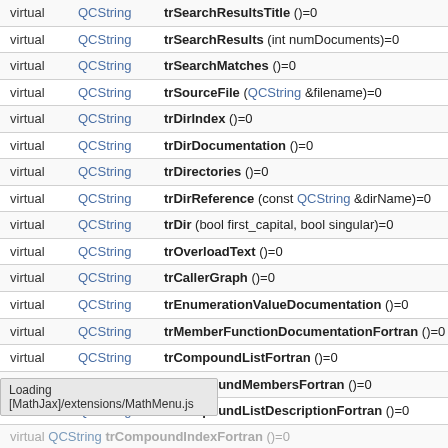|  | type | method |
| --- | --- | --- |
| virtual | QCString | trSearchResultsTitle ()=0 |
| virtual | QCString | trSearchResults (int numDocuments)=0 |
| virtual | QCString | trSearchMatches ()=0 |
| virtual | QCString | trSourceFile (QCString &filename)=0 |
| virtual | QCString | trDirIndex ()=0 |
| virtual | QCString | trDirDocumentation ()=0 |
| virtual | QCString | trDirectories ()=0 |
| virtual | QCString | trDirReference (const QCString &dirName)=0 |
| virtual | QCString | trDir (bool first_capital, bool singular)=0 |
| virtual | QCString | trOverloadText ()=0 |
| virtual | QCString | trCallerGraph ()=0 |
| virtual | QCString | trEnumerationValueDocumentation ()=0 |
| virtual | QCString | trMemberFunctionDocumentationFortran ()=0 |
| virtual | QCString | trCompoundListFortran ()=0 |
| virtual | QCString | trCompoundMembersFortran ()=0 |
| virtual | QCString | trCompoundListDescriptionFortran ()=0 |
| virtual | QCString | trCompoundMembersDescriptionFortran |
Loading [MathJax]/extensions/MathMenu.js
virtual QCString trCompoundIndexFortran ()=0